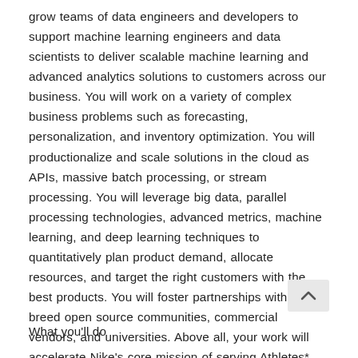grow teams of data engineers and developers to support machine learning engineers and data scientists to deliver scalable machine learning and advanced analytics solutions to customers across our business. You will work on a variety of complex business problems such as forecasting, personalization, and inventory optimization. You will productionalize and scale solutions in the cloud as APIs, massive batch processing, or stream processing. You will leverage big data, parallel processing technologies, advanced metrics, machine learning, and deep learning techniques to quantitatively plan product demand, allocate resources, and target the right customers with the best products. You will foster partnerships with best of breed open source communities, commercial vendors, and universities. Above all, your work will accelerate Nike's core mission of serving Athletes*.
What you'll do